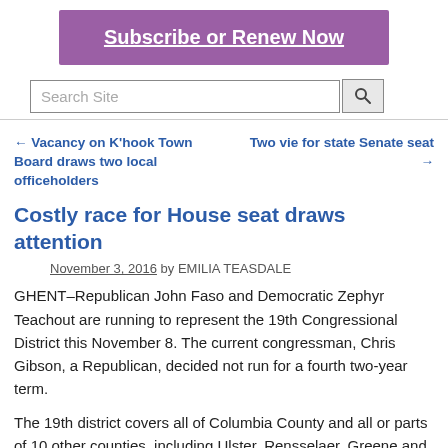[Figure (other): Purple subscribe/renew banner button with white bold underlined text 'Subscribe or Renew Now']
[Figure (other): Search site input box with magnifying glass search button]
← Vacancy on K'hook Town Board draws two local officeholders
Two vie for state Senate seat →
Costly race for House seat draws attention
November 3, 2016 by EMILIA TEASDALE
GHENT–Republican John Faso and Democratic Zephyr Teachout are running to represent the 19th Congressional District this November 8. The current congressman, Chris Gibson, a Republican, decided not run for a fourth two-year term.
The 19th district covers all of Columbia County and all or parts of 10 other counties, including Ulster, Rensselaer, Greene and Dutchess.
Columbia County is the fifth largest in the district in...